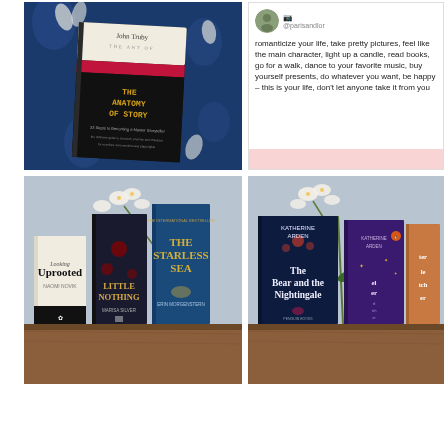[Figure (photo): Photo of 'The Anatomy of Story' book by John Truby lying on a dark blue floral fabric background]
[Figure (screenshot): Social media post by @parisandlor with text: romanticize your life, take pretty pictures, feel like the main character, light up a candle, read books, go for a walk, dance to your favorite music, buy yourself presents, do whatever you want, be happy - this is your life, don't let anyone take it from you]
[Figure (photo): Photo of three books on a wooden surface with white orchids: Uprooted by Naomi Novik, Little Nothing by Marisa Silver, and The Starless Sea by Ngozi Ukwu / Morgenstern]
[Figure (photo): Photo of books on a wooden surface with white orchids including 'The Bear and the Nightingale' by Katherine Arden and other books in the series]